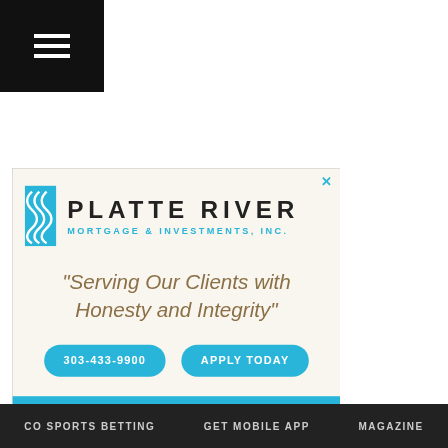[Figure (logo): Hamburger menu icon (three horizontal lines) on black background, top-left corner]
[Figure (illustration): Platte River Mortgage & Investments, Inc. advertisement. Logo with wave icon and company name. Tagline: "Serving Our Clients with Honesty and Integrity". Phone button: 303-433-9900. Apply Today button. Address: 1643 Boulder Street, Suite 102, Denver, Colorado 80211. Cyan color scheme.]
CO SPORTS BETTING    GET MOBILE APP    MAGAZINE